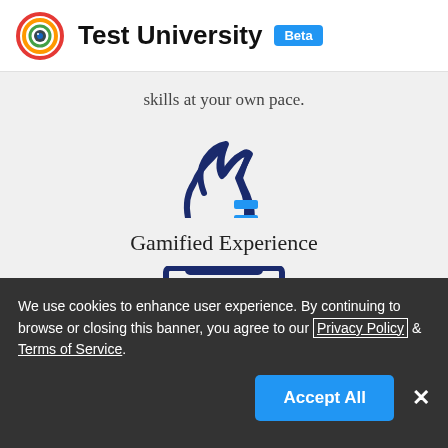Test University Beta
skills at your own pace.
[Figure (illustration): Chess knight piece icon in dark blue outline style with blue horizontal stripes on the right side, representing gamified experience]
Gamified Experience
We use cookies to enhance user experience. By continuing to browse or closing this banner, you agree to our Privacy Policy & Terms of Service.